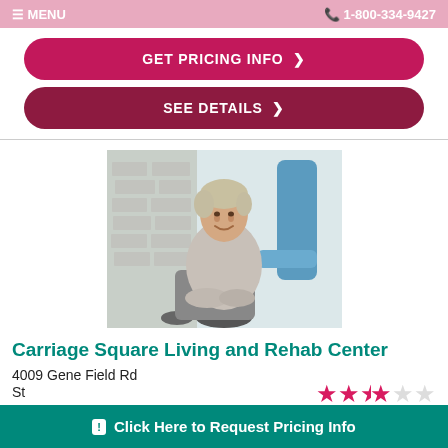MENU  1-800-334-9427
GET PRICING INFO ❯
SEE DETAILS ❯
[Figure (photo): Elderly woman smiling while seated in a wheelchair, being assisted by a caregiver in blue scrubs, in a light-colored indoor setting]
Carriage Square Living and Rehab Center
4009 Gene Field Rd
St...
[Figure (other): 3 out of 5 stars rating shown in pink/magenta stars]
Click Here to Request Pricing Info